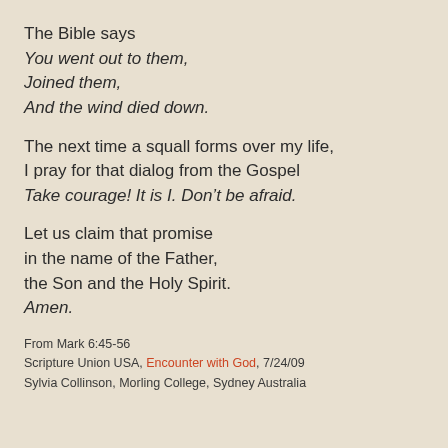The Bible says
You went out to them,
Joined them,
And the wind died down.

The next time a squall forms over my life,
I pray for that dialog from the Gospel
Take courage! It is I. Don't be afraid.

Let us claim that promise
in the name of the Father,
the Son and the Holy Spirit.
Amen.
From Mark 6:45-56
Scripture Union USA, Encounter with God, 7/24/09
Sylvia Collinson, Morling College, Sydney Australia